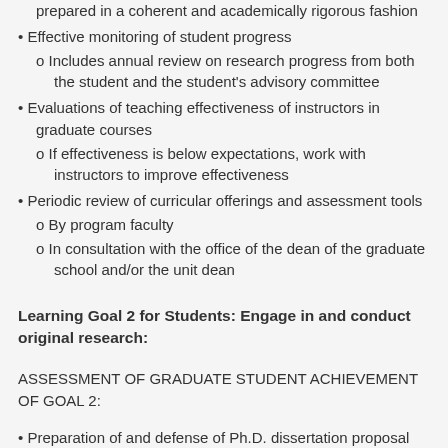prepared in a coherent and academically rigorous fashion
• Effective monitoring of student progress
o Includes annual review on research progress from both the student and the student's advisory committee
• Evaluations of teaching effectiveness of instructors in graduate courses
o If effectiveness is below expectations, work with instructors to improve effectiveness
• Periodic review of curricular offerings and assessment tools
o By program faculty
o In consultation with the office of the dean of the graduate school and/or the unit dean
Learning Goal 2 for Students: Engage in and conduct original research:
ASSESSMENT OF GRADUATE STUDENT ACHIEVEMENT OF GOAL 2:
• Preparation of and defense of Ph.D. dissertation proposal